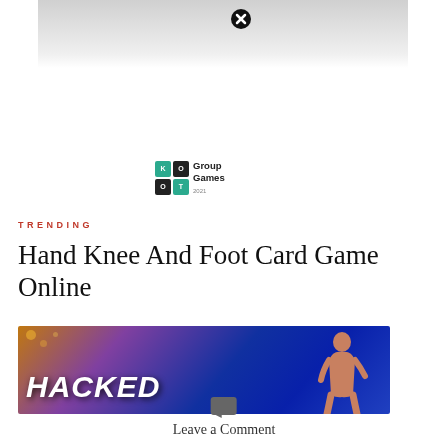[Figure (screenshot): Top portion of a webpage showing a partially visible image with a close button (X) overlay, a Group Games logo, a TRENDING section header, a title 'Hand Knee And Foot Card Game Online', and a basketball-themed banner image with 'HACKED' text and a player.]
TRENDING
Hand Knee And Foot Card Game Online
Leave a Comment